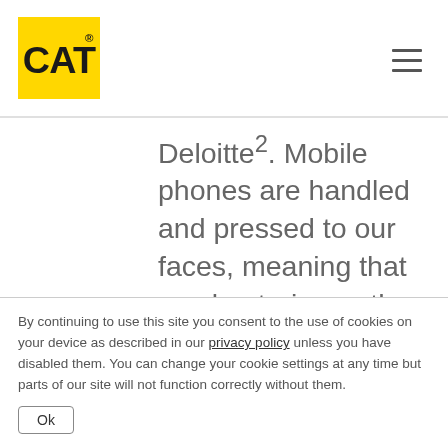CAT logo and navigation menu
Deloitte². Mobile phones are handled and pressed to our faces, meaning that any bacteria or other microorganisms can easily transfer back and forth between the hard surfaces of your phone and your skin.   The Biomaster active antimicrobial agent is proven to
By continuing to use this site you consent to the use of cookies on your device as described in our privacy policy unless you have disabled them. You can change your cookie settings at any time but parts of our site will not function correctly without them.
Ok